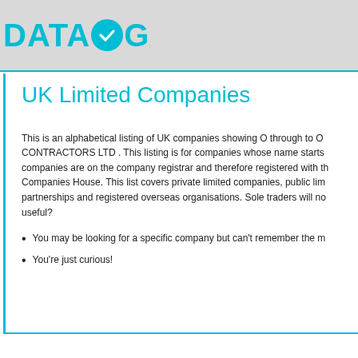DATALOG
UK Limited Companies
This is an alphabetical listing of UK companies showing O through to O CONTRACTORS LTD . This listing is for companies whose name starts companies are on the company registrar and therefore registered with the Companies House. This list covers private limited companies, public lim partnerships and registered overseas organisations. Sole traders will no useful?
You may be looking for a specific company but can't remember the m
You're just curious!